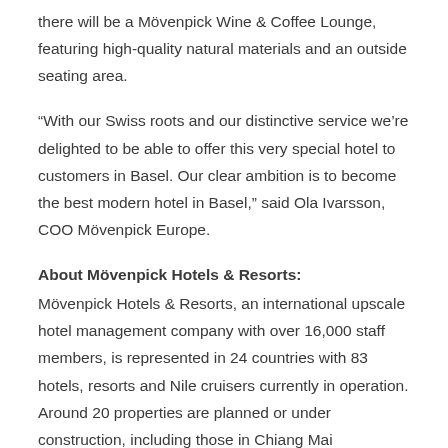there will be a Mövenpick Wine & Coffee Lounge, featuring high-quality natural materials and an outside seating area.
“With our Swiss roots and our distinctive service we’re delighted to be able to offer this very special hotel to customers in Basel. Our clear ambition is to become the best modern hotel in Basel,” said Ola Ivarsson, COO Mövenpick Europe.
About Mövenpick Hotels & Resorts:
Mövenpick Hotels & Resorts, an international upscale hotel management company with over 16,000 staff members, is represented in 24 countries with 83 hotels, resorts and Nile cruisers currently in operation. Around 20 properties are planned or under construction, including those in Chiang Mai (Thailand), Al Khobar (Kingdom of Saudi Arabia) and Nairobi (Kenya). Focusing on expanding within its core markets of Europe, Africa, the Middle East and Asia, Mövenpick Hotels &